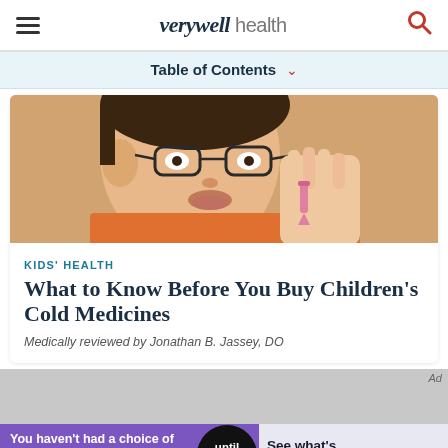verywell health
Table of Contents
[Figure (photo): Close-up of a child with glasses taking medicine from a small syringe or dropper held by an adult hand. Child is wearing an orange shirt.]
KIDS' HEALTH
What to Know Before You Buy Children's Cold Medicines
Medically reviewed by Jonathan B. Jassey, DO
[Figure (other): Gray advertisement placeholder box with 'Ad' label]
[Figure (other): Advertisement banner: 'You haven't had a choice of estrogen used in birth control pills' with 'until now' circle graphic and 'See what's next' call to action. PM-US-NEX-0188 4/22]